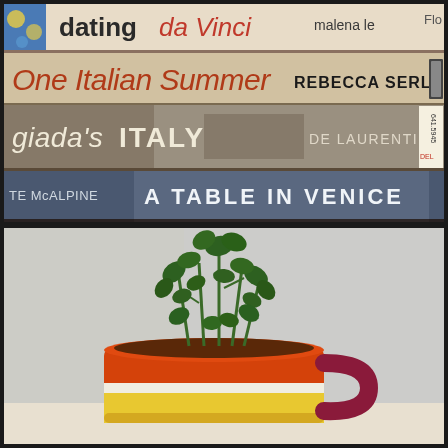[Figure (photo): Close-up photo of stacked book spines on a dark wooden shelf. Visible titles include: 'dating da Vinci' by Malena le (partially cut), 'One Italian Summer' by Rebecca Serle, 'giada's ITALY' by De Laurentiis (with library sticker 641.5945 DEL), and 'A TABLE IN VENICE' by Te McAlpine. Books have various colors including cream, gray-brown, olive/earth tones, and navy blue.]
[Figure (photo): Photo of a small green leafy plant (herb, possibly basil or mint) growing in a colorful ceramic mug with orange top band, white/yellow stripe in the middle, and yellow bottom band, with a dark maroon/purple handle. The mug sits against a light gray textured wall.]